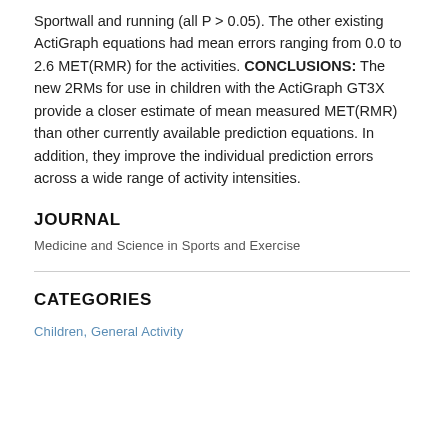Sportwall and running (all P > 0.05). The other existing ActiGraph equations had mean errors ranging from 0.0 to 2.6 MET(RMR) for the activities. CONCLUSIONS: The new 2RMs for use in children with the ActiGraph GT3X provide a closer estimate of mean measured MET(RMR) than other currently available prediction equations. In addition, they improve the individual prediction errors across a wide range of activity intensities.
JOURNAL
Medicine and Science in Sports and Exercise
CATEGORIES
Children, General Activity